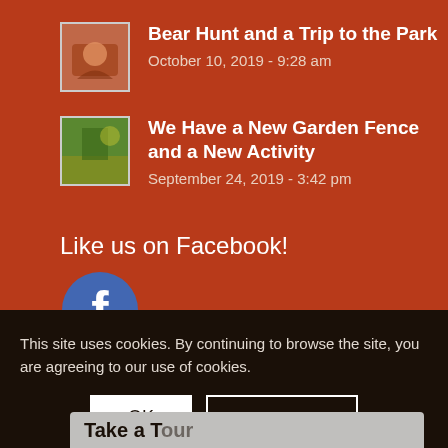Bear Hunt and a Trip to the Park
October 10, 2019 - 9:28 am
We Have a New Garden Fence and a New Activity
September 24, 2019 - 3:42 pm
Like us on Facebook!
[Figure (logo): Facebook circular logo icon with white 'f' on blue background]
This site uses cookies. By continuing to browse the site, you are agreeing to our use of cookies.
OK
Learn more
Take a Tour